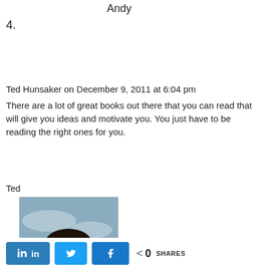Andy
4.
Ted Hunsaker on December 9, 2011 at 6:04 pm
There are a lot of great books out there that you can read that will give you ideas and motivate you. You just have to be reading the right ones for you.
Ted
[Figure (photo): Profile photo of a man smiling, dark hair, wearing a dark shirt, outdoors with sky background]
in  [Twitter bird icon]  [Facebook f icon]  < 0 SHARES